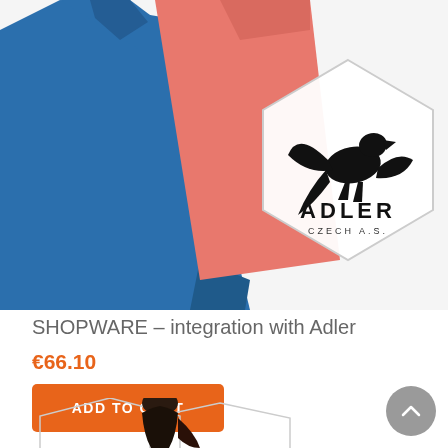[Figure (photo): Product image showing a blue long-sleeve polo shirt and a coral/salmon colored shirt, with an Adler Czech a.s. brand logo in a hexagon overlay on the right side]
SHOPWARE – integration with Adler
€66.10
ADD TO CART
[Figure (photo): Partial view of a second product showing a woman in a black top]